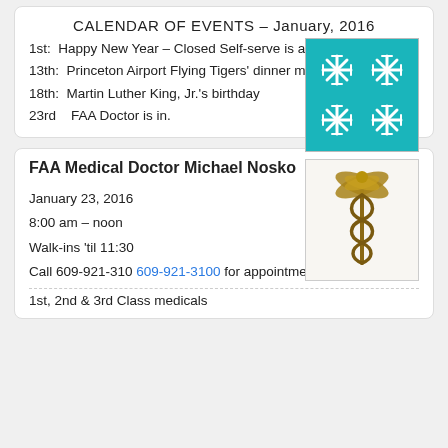CALENDAR OF EVENTS – January, 2016
1st:  Happy New Year – Closed Self-serve is available.
13th:  Princeton Airport Flying Tigers' dinner meeting.
18th:  Martin Luther King, Jr.'s birthday
23rd   FAA Doctor is in.
[Figure (illustration): Teal square with four white snowflake/airplane icons arranged in a 2x2 grid]
FAA Medical Doctor Michael Nosko
January 23, 2016
8:00 am – noon
Walk-ins 'til 11:30
Call 609-921-310 609-921-3100 for appointment.
[Figure (illustration): Bronze/gold caduceus medical symbol (staff with wings and two snakes)]
1st, 2nd & 3rd Class medicals